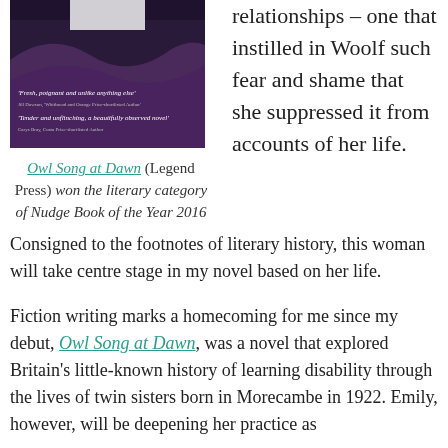[Figure (photo): Book cover with dark purple background, arch imagery, quotes: 'Fresh, poignant and unlike anything else' by Jill Dawson, Whitbread and Orange Prize-shortlisted Author; 'Tender and unflinching, a beautifully observed novel' by Carys Bray, Costa Prize-shortlisted Author]
relationships – one that instilled in Woolf such fear and shame that she suppressed it from accounts of her life.
Owl Song at Dawn (Legend Press) won the literary category of Nudge Book of the Year 2016
Consigned to the footnotes of literary history, this woman will take centre stage in my novel based on her life.
Fiction writing marks a homecoming for me since my debut, Owl Song at Dawn, was a novel that explored Britain's little-known history of learning disability through the lives of twin sisters born in Morecambe in 1922. Emily, however, will be deepening her practice as